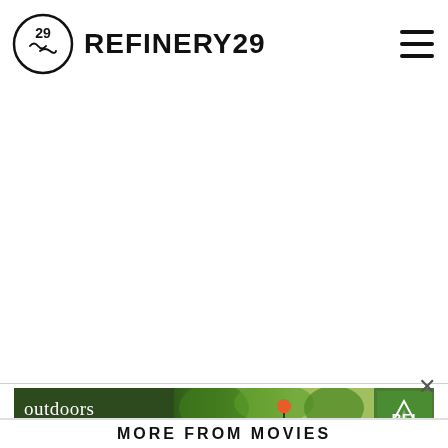REFINERY29
[Figure (screenshot): White content area - blank page body]
[Figure (photo): REI outdoor advertisement banner showing a person biking outdoors with text 'outdoors is just outside' and REI co-op logo]
MORE FROM MOVIES